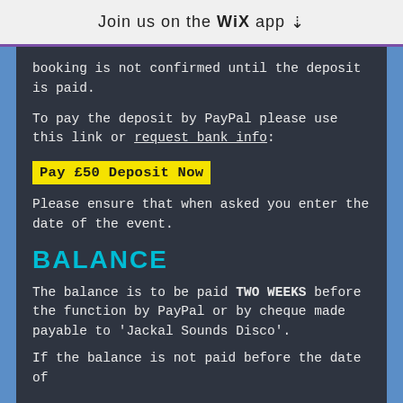Join us on the WiX app
booking is not confirmed until the deposit is paid.
To pay the deposit by PayPal please use this link or request bank info:
Pay £50 Deposit Now
Please ensure that when asked you enter the date of the event.
BALANCE
The balance is to be paid TWO WEEKS before the function by PayPal or by cheque made payable to 'Jackal Sounds Disco'.
If the balance is not paid before the date of